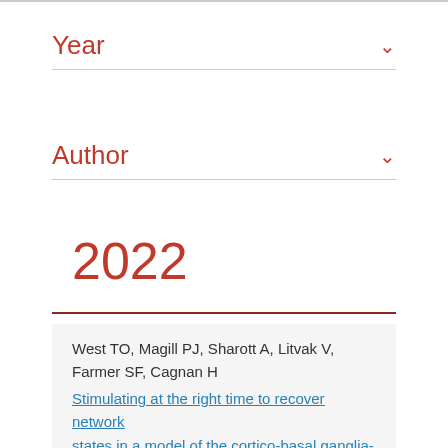Year
Author
2022
West TO, Magill PJ, Sharott A, Litvak V, Farmer SF, Cagnan H
Stimulating at the right time to recover network states in a model of the cortico-basal ganglia-thalamic circuit.
2022. PLoS Comput. Biol., 18(3):e1009887.
Free Full Text at Europe PMC
PMC8939795